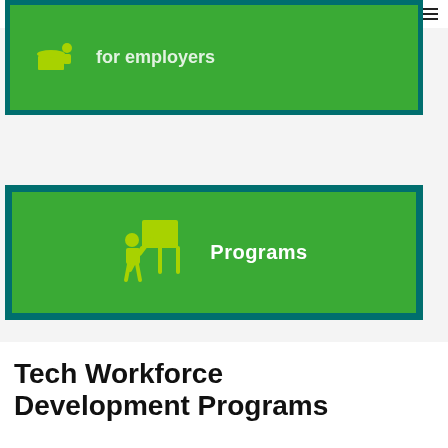[Figure (screenshot): Partially visible green card button with employer icon and partially visible text 'for employers' on a teal border background]
[Figure (screenshot): Green card button with a yellow-green presenter/training icon and bold white text 'Programs' on a teal border background]
Tech Workforce Development Programs